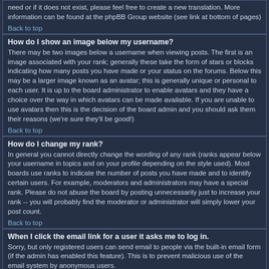need or if it does not exist, please feel free to create a new translation. More information can be found at the phpBB Group website (see link at bottom of pages)
Back to top
How do I show an image below my username?
There may be two images below a username when viewing posts. The first is an image associated with your rank; generally these take the form of stars or blocks indicating how many posts you have made or your status on the forums. Below this may be a larger image known as an avatar; this is generally unique or personal to each user. It is up to the board administrator to enable avatars and they have a choice over the way in which avatars can be made available. If you are unable to use avatars then this is the decision of the board admin and you should ask them their reasons (we're sure they'll be good!)
Back to top
How do I change my rank?
In general you cannot directly change the wording of any rank (ranks appear below your username in topics and on your profile depending on the style used). Most boards use ranks to indicate the number of posts you have made and to identify certain users. For example, moderators and administrators may have a special rank. Please do not abuse the board by posting unnecessarily just to increase your rank -- you will probably find the moderator or administrator will simply lower your post count.
Back to top
When I click the email link for a user it asks me to log in.
Sorry, but only registered users can send email to people via the built-in email form (if the admin has enabled this feature). This is to prevent malicious use of the email system by anonymous users.
Back to top